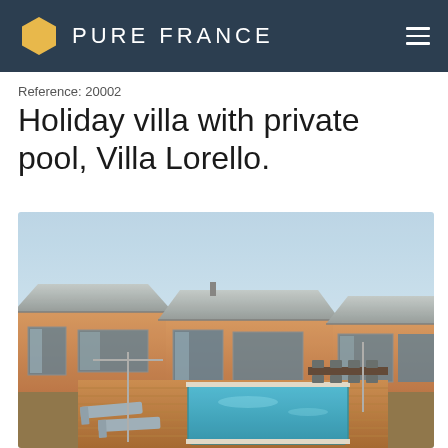PURE FRANCE
Reference: 20002
Holiday villa with private pool, Villa Lorello.
[Figure (photo): Modern wooden holiday villa with private swimming pool and timber deck, lounge chairs beside pool, outdoor dining area, surrounded by green hillside, blue sky.]